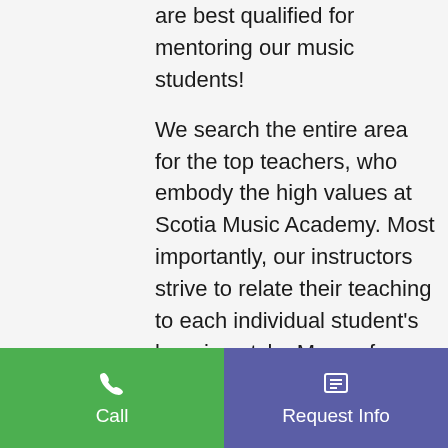are best qualified for mentoring our music students!

We search the entire area for the top teachers, who embody the high values at Scotia Music Academy. Most importantly, our instructors strive to relate their teaching to each individual student's learning style. Many of our instructors have gone on performance tours of the USA and Europe and have years of professional performance and teaching experience. In addition to their teaching abilities, our teachers have warm personalities, are extremely friendly, and strive to get
Call | Request Info